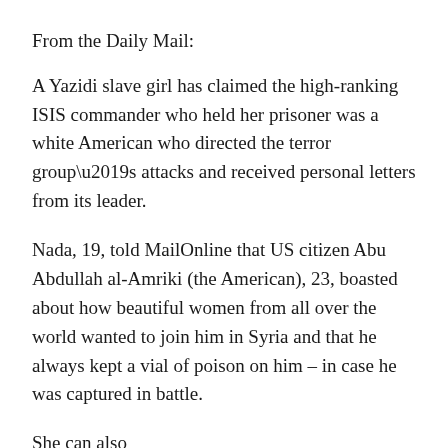From the Daily Mail:
A Yazidi slave girl has claimed the high-ranking ISIS commander who held her prisoner was a white American who directed the terror group’s attacks and received personal letters from its leader.
Nada, 19, told MailOnline that US citizen Abu Abdullah al-Amriki (the American), 23, boasted about how beautiful women from all over the world wanted to join him in Syria and that he always kept a vial of poison on him – in case he was captured in battle.
She can also claim that the ISIS senior commander had been...